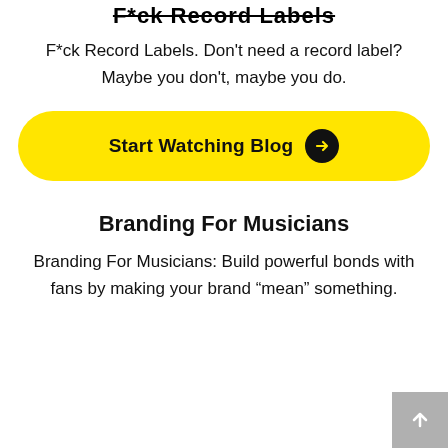F*ck Record Labels
F*ck Record Labels. Don’t need a record label? Maybe you don’t, maybe you do.
[Figure (other): Yellow rounded rectangle CTA button with text 'Start Watching Blog' and a black circle arrow icon]
Branding For Musicians
Branding For Musicians: Build powerful bonds with fans by making your brand “mean” something.